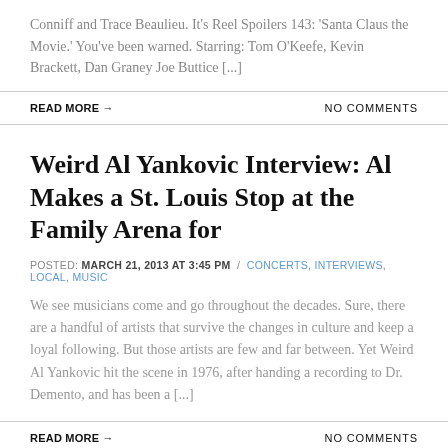Conniff and Trace Beaulieu. It's Reel Spoilers 143: 'Santa Claus the Movie.' You've been warned. Starring: Tom O'Keefe, Kevin Brackett, Dan Graney Joe Buttice [...]
READ MORE →
NO COMMENTS
Weird Al Yankovic Interview: Al Makes a St. Louis Stop at the Family Arena for
POSTED: MARCH 21, 2013 AT 3:45 PM / CONCERTS, INTERVIEWS, LOCAL, MUSIC
We see musicians come and go throughout the decades. Sure, there are a handful of artists that survive the changes in culture and keep a loyal following. But those artists are few and far between. Yet Weird Al Yankovic hit the scene in 1976, after handing a recording to Dr. Demento, and has been a [...]
READ MORE →
NO COMMENTS